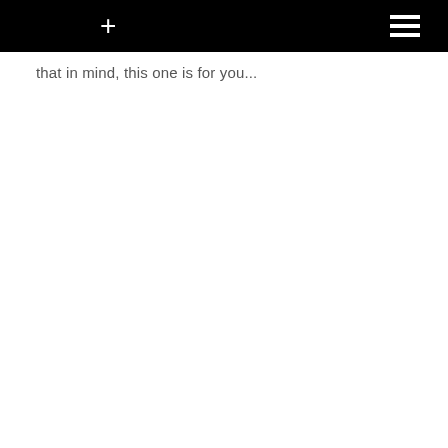+ ≡
that in mind, this one is for you...